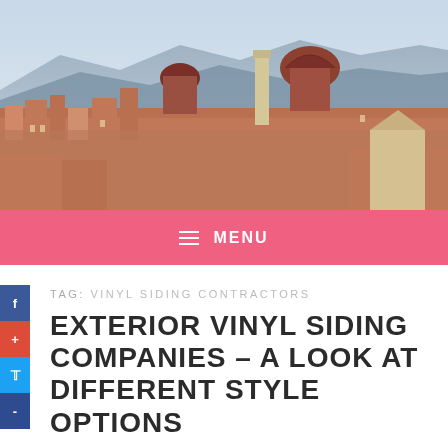[Figure (photo): Aerial cityscape photograph of Florence, Italy, showing the Duomo cathedral and surrounding terracotta-roofed buildings with mountains in background]
≡ MENU
TAG: VINYL SIDING CONTRACTORS
EXTERIOR VINYL SIDING COMPANIES – A LOOK AT DIFFERENT STYLE OPTIONS
December 30, 2020